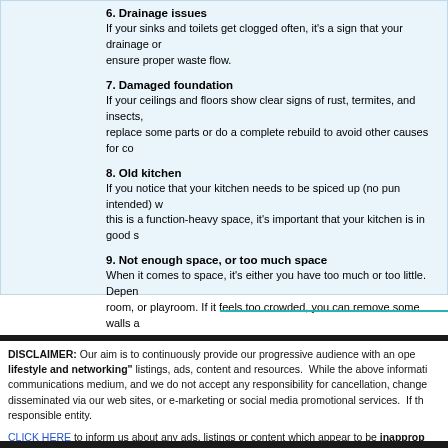6. Drainage issues
If your sinks and toilets get clogged often, it's a sign that your drainage or ensure proper waste flow.
7. Damaged foundation
If your ceilings and floors show clear signs of rust, termites, and insects, replace some parts or do a complete rebuild to avoid other causes for co
8. Old kitchen
If you notice that your kitchen needs to be spiced up (no pun intended) w this is a function-heavy space, it's important that your kitchen is in good s
9. Not enough space, or too much space
When it comes to space, it's either you have too much or too little. Depen room, or playroom. If it feels too crowded, you can remove some walls a
If you see this, it's a sign to contact us
The signs don't lie and you have to make steps in order to renovate your buyer's agents at Buying Perth Real Estate. Contact Clive at clive@buyin
DISCLAIMER: Our aim is to continuously provide our progressive audience with an ope lifestyle and networking" listings, ads, content and resources. While the above informati communications medium, and we do not accept any responsibility for cancellation, change disseminated via our web sites, or e-marketing or social media promotional services. If th responsible entity.
CLICK HERE to inform us about any ads, listings or content which appear to be inapprop